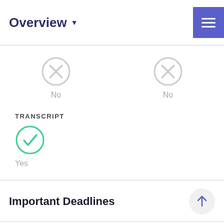Overview
[Figure (infographic): Two gray circle-X icons labeled 'No', one in the upper left column, one in the upper right column]
TRANSCRIPT
[Figure (infographic): Green circle-checkmark icon labeled 'Yes' under TRANSCRIPT]
Important Deadlines
Whitworth University
See My Chances